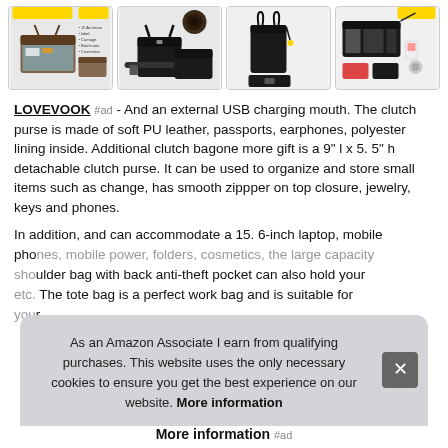[Figure (photo): Row of four product images showing handbags and purses with various detail views]
LOVEVOOK #ad - And an external USB charging mouth. The clutch purse is made of soft PU leather, passports, earphones, polyester lining inside. Additional clutch bagone more gift is a 9" l x 5. 5" h detachable clutch purse. It can be used to organize and store small items such as change, has smooth zippper on top closure, jewelry, keys and phones.
In addition, and can accommodate a 15. 6-inch laptop, mobile phones, mobile power, folders, cosmetics, the large capacity shoulder bag with back anti-theft pocket can also hold your etc. The tote bag is a perfect work bag and is suitable for your
As an Amazon Associate I earn from qualifying purchases. This website uses the only necessary cookies to ensure you get the best experience on our website. More information
More information #ad